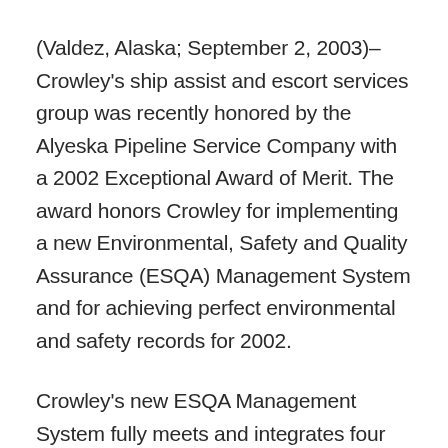(Valdez, Alaska; September 2, 2003)– Crowley's ship assist and escort services group was recently honored by the Alyeska Pipeline Service Company with a 2002 Exceptional Award of Merit. The award honors Crowley for implementing a new Environmental, Safety and Quality Assurance (ESQA) Management System and for achieving perfect environmental and safety records for 2002.
Crowley's new ESQA Management System fully meets and integrates four internationally certified management codes: the International Safety Management (ISM) Code